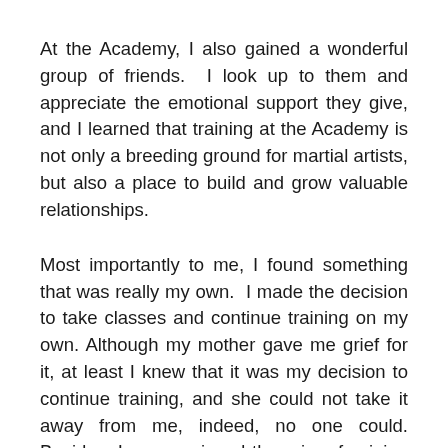At the Academy, I also gained a wonderful group of friends.  I look up to them and appreciate the emotional support they give, and I learned that training at the Academy is not only a breeding ground for martial artists, but also a place to build and grow valuable relationships.
Most importantly to me, I found something that was really my own.  I made the decision to take classes and continue training on my own. Although my mother gave me grief for it, at least I knew that it was my decision to continue training, and she could not take it away from me, indeed, no one could. Besides, I am convinced there is a feminine side to martial arts.  The Wai Kru, for